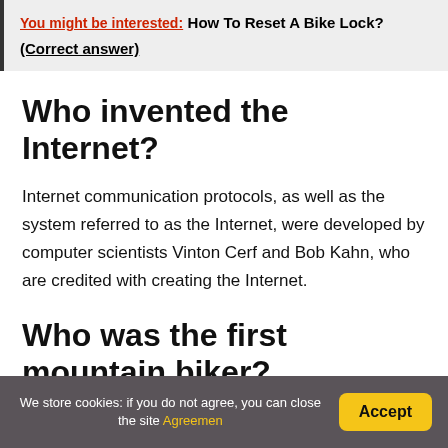You might be interested: How To Reset A Bike Lock? (Correct answer)
Who invented the Internet?
Internet communication protocols, as well as the system referred to as the Internet, were developed by computer scientists Vinton Cerf and Bob Kahn, who are credited with creating the Internet.
Who was the first mountain biker?
We store cookies: if you do not agree, you can close the site Agreemen